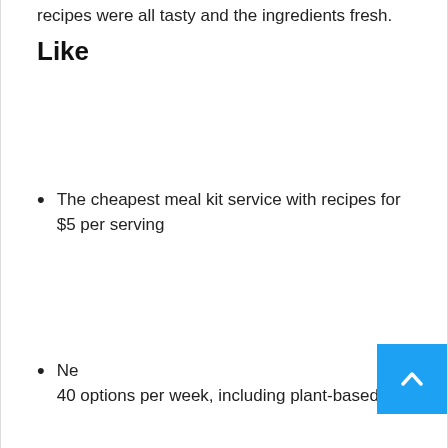recipes were all tasty and the ingredients fresh.
Like
The cheapest meal kit service with recipes for $5 per serving
Ne… 40 options per week, including plant-based